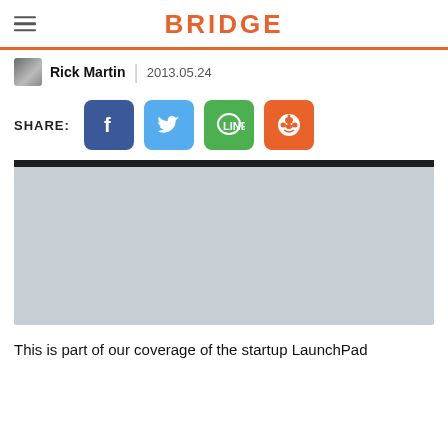BRIDGE
Rick Martin | 2013.05.24
[Figure (infographic): Social share buttons: Facebook, Twitter, LINE, Reddit]
[Figure (photo): Article hero image, mostly grey placeholder with dark top bar]
This is part of our coverage of the startup LaunchPad